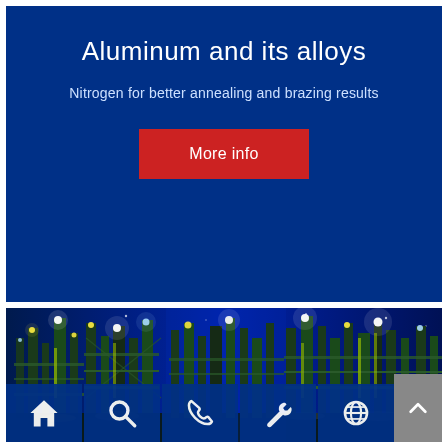Aluminum and its alloys
Nitrogen for better annealing and brazing results
More info
[Figure (photo): Industrial chemical plant at night with bright lights illuminating pipes, columns and structures; navigation icon bar at bottom with home, search, phone, wrench, and globe icons on dark blue backgrounds]